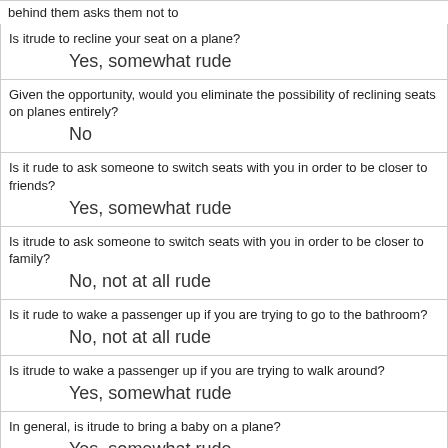behind them asks them not to
Is itrude to recline your seat on a plane?
Yes, somewhat rude
Given the opportunity, would you eliminate the possibility of reclining seats on planes entirely?
No
Is it rude to ask someone to switch seats with you in order to be closer to friends?
Yes, somewhat rude
Is itrude to ask someone to switch seats with you in order to be closer to family?
No, not at all rude
Is it rude to wake a passenger up if you are trying to go to the bathroom?
No, not at all rude
Is itrude to wake a passenger up if you are trying to walk around?
Yes, somewhat rude
In general, is itrude to bring a baby on a plane?
Yes, somewhat rude
In general, is it rude to knowingly bring unruly children on a plane?
Yes, very rude